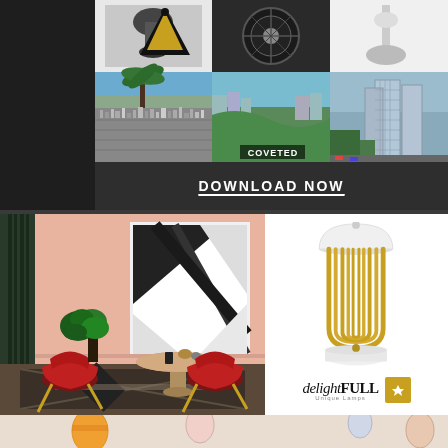[Figure (photo): Book cover collage showing aerial city views with palm trees and skylines, with COVETED text visible]
DOWNLOAD NOW
[Figure (photo): Interior design scene with pink walls, red chairs, round table, dark geometric rug, plant, and abstract black and white wall art]
[Figure (photo): DelightFULL unique lamps product photo showing a gold U-shaped table lamp with white dome shade on white base]
[Figure (photo): Partial bottom image showing colorful hot air balloons against a light sky]